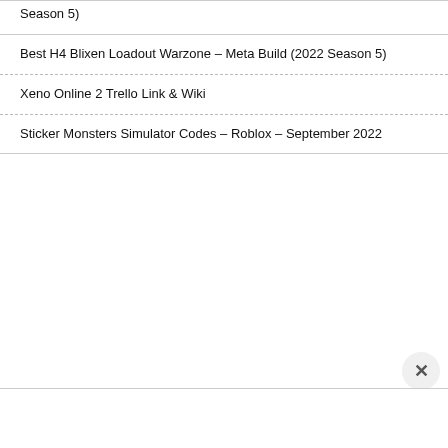Season 5)
Best H4 Blixen Loadout Warzone – Meta Build (2022 Season 5)
Xeno Online 2 Trello Link & Wiki
Sticker Monsters Simulator Codes – Roblox – September 2022